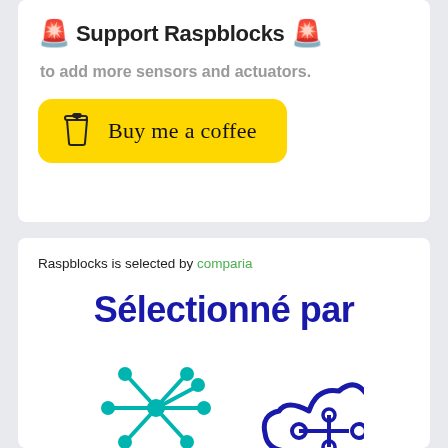🚨 Support Raspblocks 🚨
to add more sensors and actuators.
[Figure (illustration): Yellow rounded button with coffee cup icon and 'Buy me a coffee' text in cursive script]
Raspblocks is selected by comparia
Sélectionné par
[Figure (logo): Comparia logo: teal starburst/network node icon and dark blue cloud with circuit nodes icon]